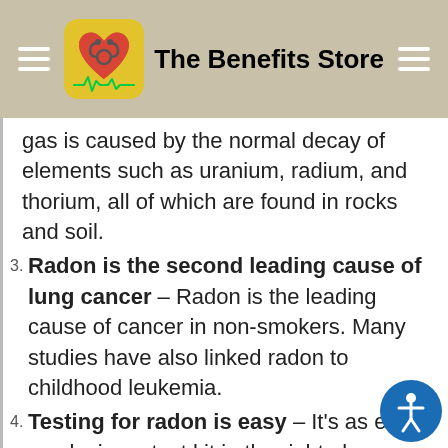The Benefits Store
gas is caused by the normal decay of elements such as uranium, radium, and thorium, all of which are found in rocks and soil.
Radon is the second leading cause of lung cancer – Radon is the leading cause of cancer in non-smokers. Many studies have also linked radon to childhood leukemia.
Testing for radon is easy – It's as easy as placing a test kit in the right place, letting it sit between 2-7 days, and then